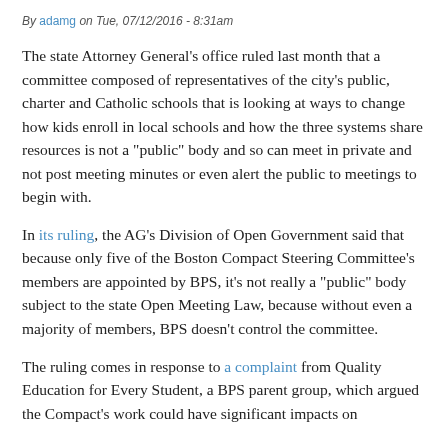By adamg on Tue, 07/12/2016 - 8:31am
The state Attorney General's office ruled last month that a committee composed of representatives of the city's public, charter and Catholic schools that is looking at ways to change how kids enroll in local schools and how the three systems share resources is not a "public" body and so can meet in private and not post meeting minutes or even alert the public to meetings to begin with.
In its ruling, the AG's Division of Open Government said that because only five of the Boston Compact Steering Committee's members are appointed by BPS, it's not really a "public" body subject to the state Open Meeting Law, because without even a majority of members, BPS doesn't control the committee.
The ruling comes in response to a complaint from Quality Education for Every Student, a BPS parent group, which argued the Compact's work could have significant impacts on